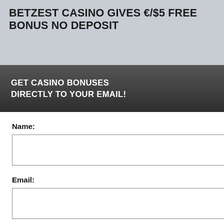BETZEST CASINO GIVES €/$5 FREE BONUS NO DEPOSIT
bonus to all new players, you er registration. You get a first $/€100 + 100 free spins
sit casino bonus up to $/$100 + 100 free
[Figure (screenshot): Modal popup with dark header saying 'GET CASINO BONUSES DIRECTLY TO YOUR EMAIL!', a close button (X), a form with Name and Email fields and a Submit button, and a footer note about Privacy and Cookie policy. Behind the modal, a black cookie consent banner is partially visible with text about cookies and a yellow button.]